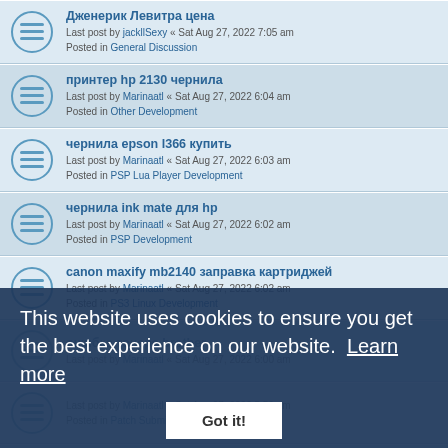Дженерик Левитра цена
Last post by jackllSexy « Sat Aug 27, 2022 7:05 am
Posted in General Discussion
принтер hp 2130 чернила
Last post by Marinaatl « Sat Aug 27, 2022 6:04 am
Posted in Other Development
чернила epson l366 купить
Last post by Marinaatl « Sat Aug 27, 2022 6:03 am
Posted in PSP Lua Player Development
чернила ink mate для hp
Last post by Marinaatl « Sat Aug 27, 2022 6:02 am
Posted in PSP Development
canon maxify mb2140 заправка картриджей
Last post by Marinaatl « Sat Aug 27, 2022 6:02 am
Posted in PS3 Linux Development
ошибка тонера brother
Last post by Marinaatl « Sat Aug 27, 2022 6:00 am
Last post by Marinaatl « Sat Aug 27, 2022 5:59 am
Posted in Patch Submissions
тонер для принтера samsung ml
Last post by Marinaatl « Sat Aug 27, 2022 5:59 am
Posted in General Discussion
оригинальные чернила epson 103
This website uses cookies to ensure you get the best experience on our website. Learn more
Got it!